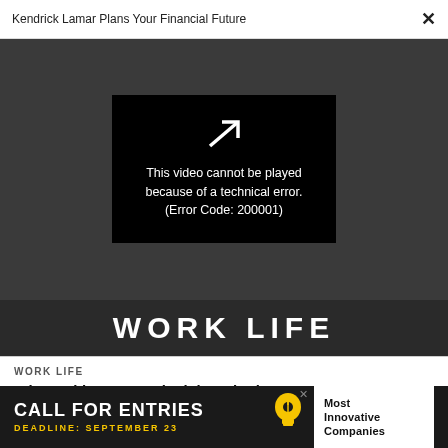Kendrick Lamar Plans Your Financial Future  ×
[Figure (screenshot): Video player showing error message on black background: 'This video cannot be played because of a technical error. (Error Code: 200001)' with a broken play icon above.]
WORK LIFE
WORK LIFE
Why making smart decisions is the new goal-setting
[Figure (infographic): Advertisement banner: 'CALL FOR ENTRIES  DEADLINE: SEPTEMBER 23' with lightbulb icon and 'Most Innovative Companies' text on white background.]